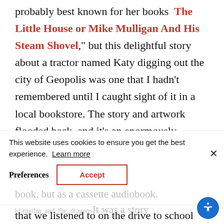probably best known for her books “The Little House or Mike Mulligan And His Steam Shovel,” but this delightful story about a tractor named Katy digging out the city of Geopolis was one that I hadn’t remembered until I caught sight of it in a local bookstore. The story and artwork flooded back, and it’s an enormously relevant story for a place that receives a lot of snow annually. Finally, there was Jane Yolan’s take on the Arthurian legend, “Merlin and the Dragons,” a book that I was first introduced to not as a picture book, but as a cassette audiobook. -merlin_and_the_dragonsIt was a story that we listened to on the drive to school
This website uses cookies to ensure you get the best experience. Learn more
Preferences
Accept